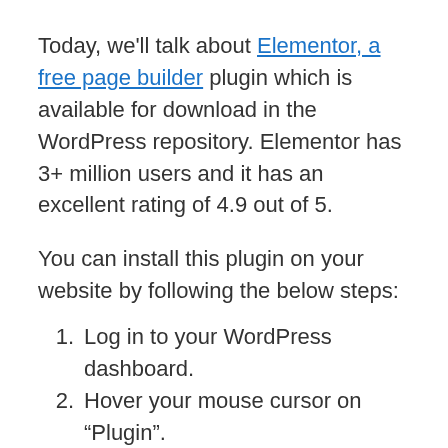Today, we'll talk about Elementor, a free page builder plugin which is available for download in the WordPress repository. Elementor has 3+ million users and it has an excellent rating of 4.9 out of 5.
You can install this plugin on your website by following the below steps:
Log in to your WordPress dashboard.
Hover your mouse cursor on “Plugin”.
Click the Add new option
Enter Elementor in the “search plugins” textbox.
Hit the enter key.
Once the plugin appears on your screen, click